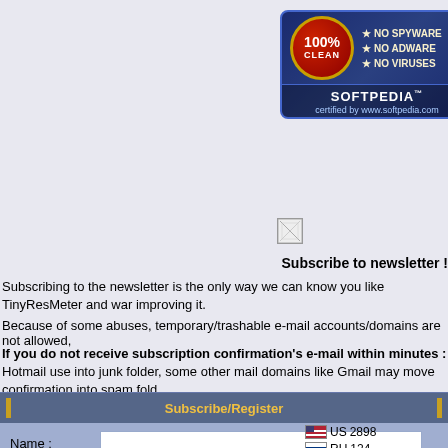[Figure (logo): Softpedia 100% Clean certification badge — dark blue rounded rectangle with red circle showing '100% CLEAN', gold stars, text 'NO SPYWARE NO ADWARE NO VIRUSES', SOFTPEDIA certified by www.softpedia.com]
[Figure (logo): Award badge — gold medallion/ribbon icon (partially visible at right edge)]
[Figure (other): Broken image icon placeholder]
Subscribe to newsletter !
Subscribing to the newsletter is the only way we can know you like TinyResMeter and war improving it.
Because of some abuses, temporary/trashable e-mail accounts/domains are not allowed,
If you do not receive subscription confirmation's e-mail within minutes : Hotmail use into junk folder, some other mail domains like Gmail may move confirmation into spam fold
| Subscribe/Register |
| --- |
| Name : |  |  |
| E-mail : |  |  |
| Country : | Select your country |  |
| Comment if any... |  |  |